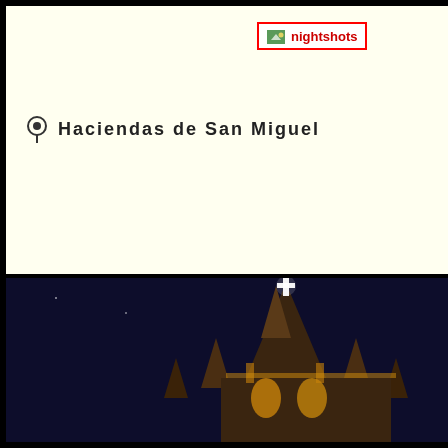[Figure (logo): nightshots logo in red border box with small green landscape icon]
Haciendas de San Miguel
[Figure (photo): Night photo of illuminated gothic church tower/spire with glowing cross on top against dark blue sky]
[Figure (photo): Night photo of illuminated church facade and bell tower with clock, lit in warm golden light against deep blue sky]
"GEOMUNDO" m... Mexico that satisfi...
"FORTUNE" mo... article about the 2... them..
"ARTES DE MEX...